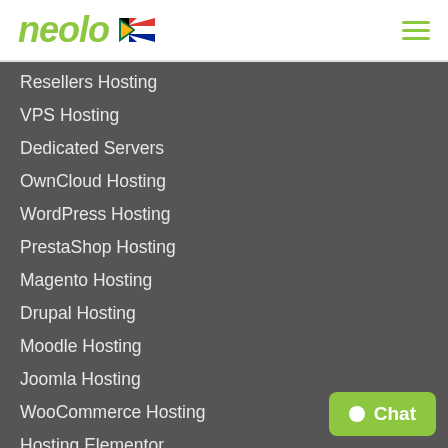neolo
Resellers Hosting
VPS Hosting
Dedicated Servers
OwnCloud Hosting
WordPress Hosting
PrestaShop Hosting
Magento Hosting
Drupal Hosting
Moodle Hosting
Joomla Hosting
WooCommerce Hosting
Hosting Elementor